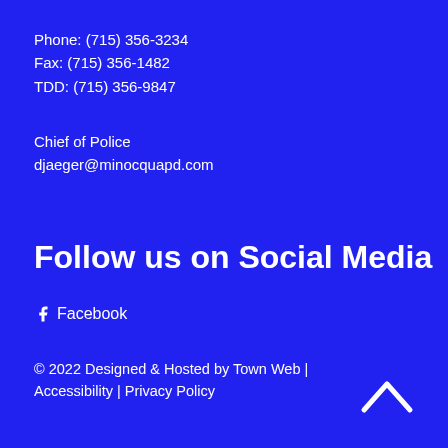Phone: (715) 356-3234
Fax: (715) 356-1482
TDD: (715) 356-9847
Chief of Police
djaeger@minocquapd.com
Follow us on Social Media
Facebook
© 2022 Designed & Hosted by Town Web | Accessibility | Privacy Policy